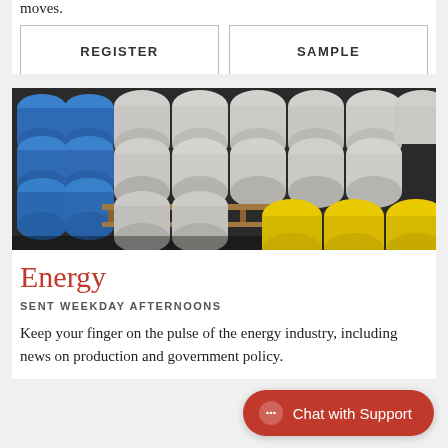moves.
REGISTER
SAMPLE
[Figure (photo): Stacked industrial barrels/drums in blue, gray/white, and yellow colors arranged on pallets in a warehouse or storage facility.]
Energy
SENT WEEKDAY AFTERNOONS
Keep your finger on the pulse of the energy industry, including news on production and government policy.
Chat with Support